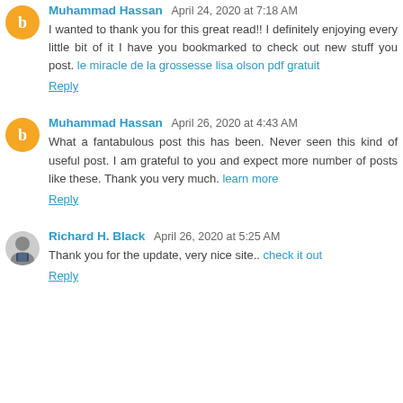Muhammad Hassan April 24, 2020 at 7:18 AM
I wanted to thank you for this great read!! I definitely enjoying every little bit of it I have you bookmarked to check out new stuff you post. le miracle de la grossesse lisa olson pdf gratuit
Reply
Muhammad Hassan April 26, 2020 at 4:43 AM
What a fantabulous post this has been. Never seen this kind of useful post. I am grateful to you and expect more number of posts like these. Thank you very much. learn more
Reply
Richard H. Black April 26, 2020 at 5:25 AM
Thank you for the update, very nice site.. check it out
Reply